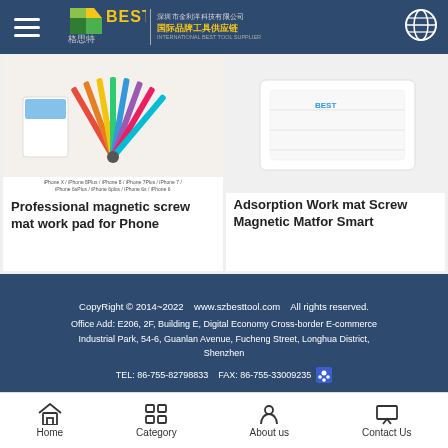BEST brand logo navigation bar with hamburger menu and globe icon
[Figure (photo): Product image of Professional magnetic screw mat work pad for Phone with colorful screwdriver set and compatibility labels]
Professional magnetic screw mat work pad for Phone
[Figure (photo): Product image of white Adsorption Work mat Screw Magnetic Mat for Smart devices]
Adsorption Work mat Screw Magnetic Matfor Smart
CopyRight © 2014~2022    www.szbesttool.com    All rights reserved.
Office Add: E206, 2F, Building E, Digital Economy Cross-border E-commerce Industrial Park, 54-6, Guanlan Avenue, Fucheng Street, Longhua District, Shenzhen
TEL: 86-755-82798833    FAX: 86-755-33009235
Home   Category   About us   Contact Us